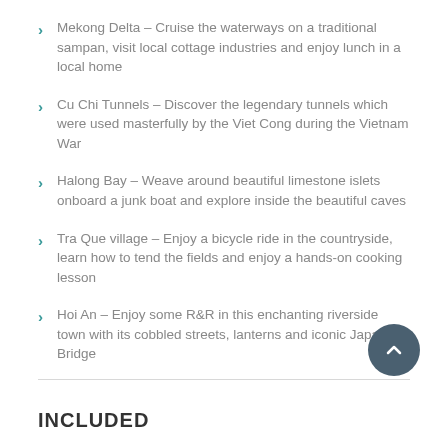Mekong Delta – Cruise the waterways on a traditional sampan, visit local cottage industries and enjoy lunch in a local home
Cu Chi Tunnels – Discover the legendary tunnels which were used masterfully by the Viet Cong during the Vietnam War
Halong Bay – Weave around beautiful limestone islets onboard a junk boat and explore inside the beautiful caves
Tra Que village – Enjoy a bicycle ride in the countryside, learn how to tend the fields and enjoy a hands-on cooking lesson
Hoi An – Enjoy some R&R in this enchanting riverside town with its cobbled streets, lanterns and iconic Japanese Bridge
INCLUDED